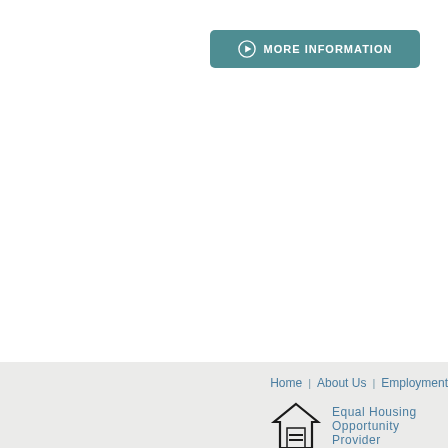[Figure (other): A teal rounded rectangle button with a play/arrow circle icon on the left and the text MORE INFORMATION in white capital letters]
Home | About Us | Employment
[Figure (logo): Equal Housing Opportunity logo — a house outline with an equals sign inside]
Equal Housing Opportunity Provider